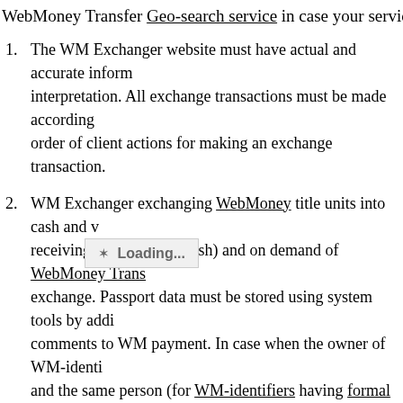WebMoney Transfer Geo-search service in case your service s
1. The WM Exchanger website must have actual and accurate inform interpretation. All exchange transactions must be made according order of client actions for making an exchange transaction.
2. WM Exchanger exchanging WebMoney title units into cash and v receiving or depositing cash) and on demand of WebMoney Trans exchange. Passport data must be stored using system tools by addi comments to WM payment. In case when the owner of WM-identi and the same person (for WM-identifiers having formal and highe
3. WM Exchanger exchanging WebMoney title units into bank trans exchange transaction and on demand of WebMoney Transfer the A system tools by adding the information about bank details (Sender the Sender or Recipient of the transaction) to the WM accounts or transaction of the corresponding exchange transaction coincide wi exchange (for WM-identifiers having formal and higher passports)
4. WM Exchanger exchanging WebMoney title units into transfers in MoneyGram, etc) and vice versa must store full transaction detail